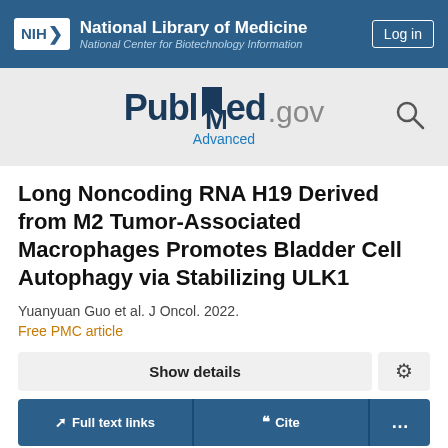NIH National Library of Medicine — National Center for Biotechnology Information | Log in
[Figure (logo): PubMed.gov logo with search icon and Advanced link]
Long Noncoding RNA H19 Derived from M2 Tumor-Associated Macrophages Promotes Bladder Cell Autophagy via Stabilizing ULK1
Yuanyuan Guo et al. J Oncol. 2022.
Free PMC article
Show details
Full text links | Cite